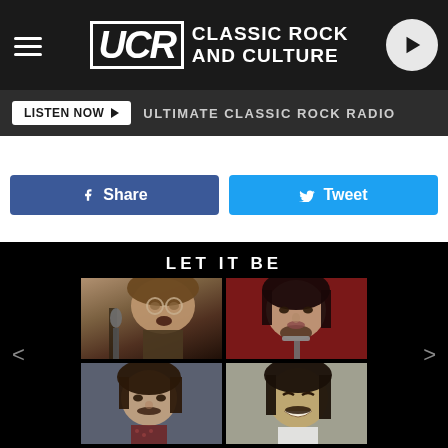UCR CLASSIC ROCK AND CULTURE
LISTEN NOW ▶  ULTIMATE CLASSIC ROCK RADIO
f  Share     Tweet
LET IT BE
[Figure (photo): The Beatles Let It Be album cover: four quadrant photos of John Lennon (top left, singing into microphone), Paul McCartney (top right, at microphone with red background), Ringo Starr (bottom left), and George Harrison (bottom right, smiling)]